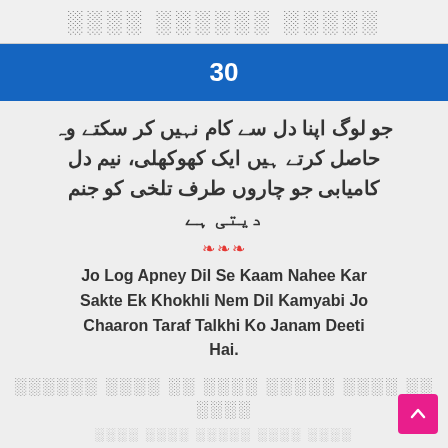░░░░ ░░░░░░ ░░░░░
30
جو لوگ اپنا دل سے کام نہیں کر سکتے وہ حاصل کرتے ہیں ایک کھوکھلی، نیم دل کامیابی جو چاروں طرف تلخی کو جنم دیتی ہے
❧❧❧
Jo Log Apney Dil Se Kaam Nahee Kar Sakte Ek Khokhli Nem Dil Kamyabi Jo Chaaron Taraf Talkhi Ko Janam Deeti Hai.
❧❧❧
░░ ░░░░ ░░░░░ ░░░░ ░░ ░░░░ ░░░░░░ ░░░░